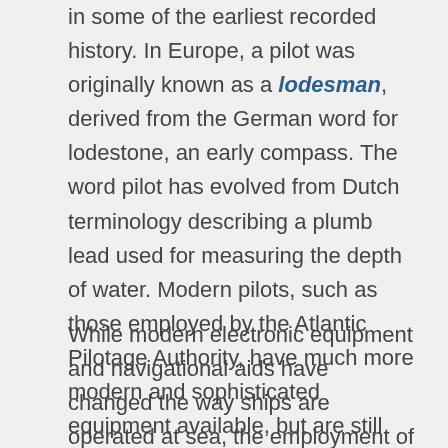in some of the earliest recorded history. In Europe, a pilot was originally known as a lodesman, derived from the German word for lodestone, an early compass. The word pilot has evolved from Dutch terminology describing a plumb lead used for measuring the depth of water. Modern pilots, such as those employed by the Atlantic Pilotage Authority, have much more modern and sophisticated equipment available, but are still called upon to provide skilled shiphandling and expert navigation.
While modern electronic equipment and navigational aids have changed the way ships are operated at sea, the employment of a marine pilot with extensive local knowledge and expert ship-handling skills is as essential as ever to safely enter harbours and ports